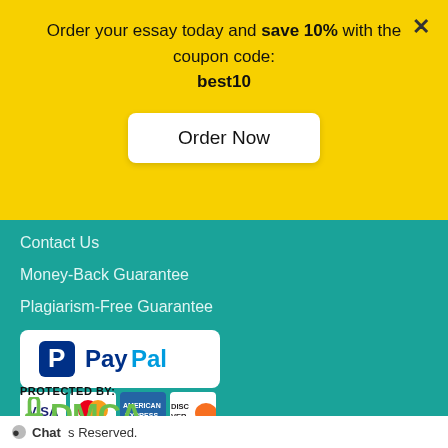Order your essay today and save 10% with the coupon code: best10
[Figure (screenshot): Order Now button on yellow banner]
Contact Us
Money-Back Guarantee
Plagiarism-Free Guarantee
[Figure (logo): PayPal logo in white rounded rectangle]
[Figure (logo): Payment card logos: VISA, Mastercard, American Express, Discover]
[Figure (logo): DMCA Protected badge with lock icon and green text]
© 2010 — 2022 Dark Essays
Chat